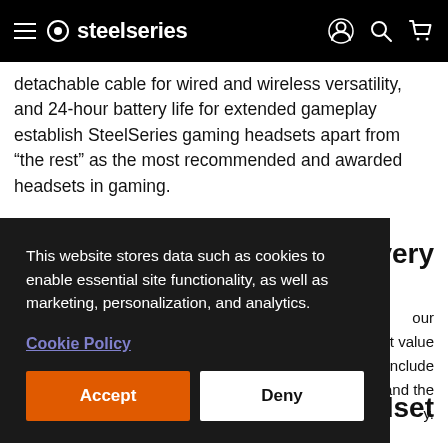SteelSeries
detachable cable for wired and wireless versatility, and 24-hour battery life for extended gameplay establish SteelSeries gaming headsets apart from “the rest” as the most recommended and awarded headsets in gaming.
This website stores data such as cookies to enable essential site functionality, as well as marketing, personalization, and analytics.
Cookie Policy
Accept
Deny
n every
our nt value nclude s and the y.
adset
compatible with all your devices